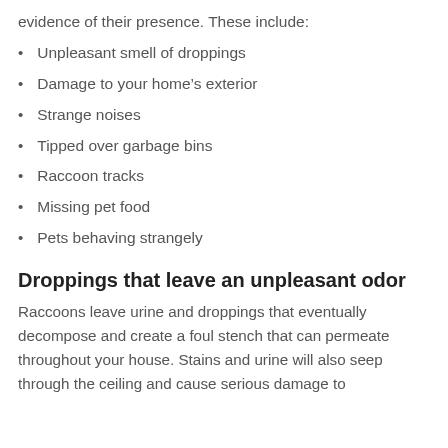evidence of their presence. These include:
Unpleasant smell of droppings
Damage to your home’s exterior
Strange noises
Tipped over garbage bins
Raccoon tracks
Missing pet food
Pets behaving strangely
Droppings that leave an unpleasant odor
Raccoons leave urine and droppings that eventually decompose and create a foul stench that can permeate throughout your house. Stains and urine will also seep through the ceiling and cause serious damage to